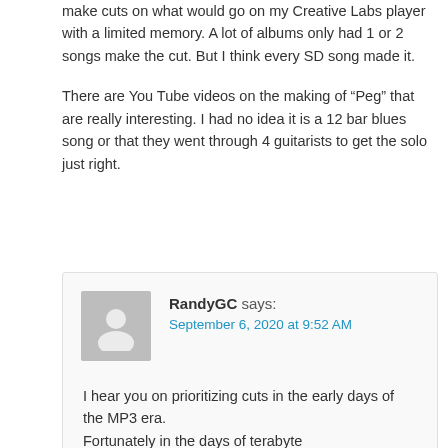make cuts on what would go on my Creative Labs player with a limited memory. A lot of albums only had 1 or 2 songs make the cut. But I think every SD song made it.
There are You Tube videos on the making of “Peg” that are really interesting. I had no idea it is a 12 bar blues song or that they went through 4 guitarists to get the solo just right.
RandyGC says: September 6, 2020 at 9:52 AM
I hear you on prioritizing cuts in the early days of the MP3 era. Fortunately in the days of terabyte